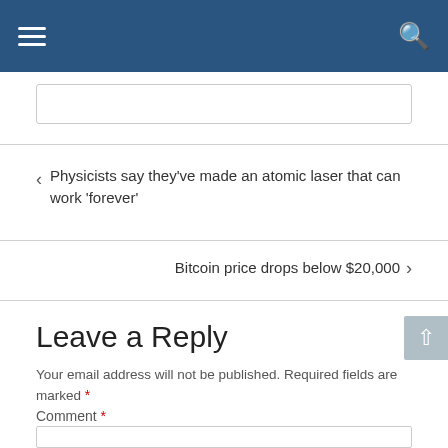Navigation bar with hamburger menu and search icon
Physicists say they've made an atomic laser that can work 'forever'
Bitcoin price drops below $20,000
Leave a Reply
Your email address will not be published. Required fields are marked *
Comment *